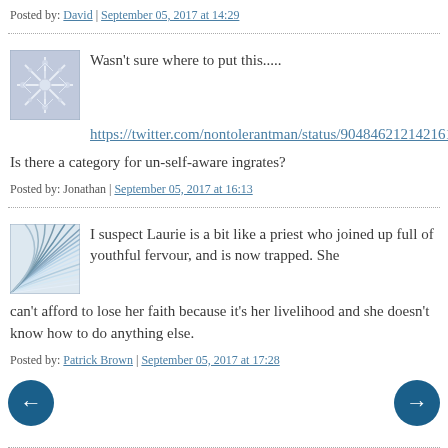Posted by: David | September 05, 2017 at 14:29
[Figure (illustration): User avatar with snowflake/star pattern in blue-grey tones]
Wasn't sure where to put this.....
https://twitter.com/nontolerantman/status/904846212142161921
Is there a category for un-self-aware ingrates?
Posted by: Jonathan | September 05, 2017 at 16:13
[Figure (illustration): User avatar with radiating wave lines pattern in blue tones]
I suspect Laurie is a bit like a priest who joined up full of youthful fervour, and is now trapped. She can't afford to lose her faith because it's her livelihood and she doesn't know how to do anything else.
Posted by: Patrick Brown | September 05, 2017 at 17:28